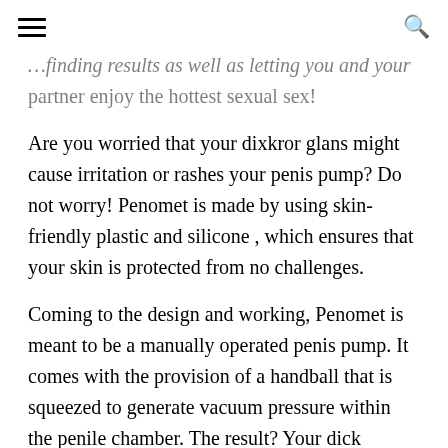[hamburger menu] [search icon]
…finding results as well as letting you and your partner enjoy the hottest sexual sex!
Are you worried that your dixkror glans might cause irritation or rashes your penis pump? Do not worry! Penomet is made by using skin-friendly plastic and silicone , which ensures that your skin is protected from no challenges.
Coming to the design and working, Penomet is meant to be a manually operated penis pump. It comes with the provision of a handball that is squeezed to generate vacuum pressure within the penile chamber. The result? Your dick becomes completely